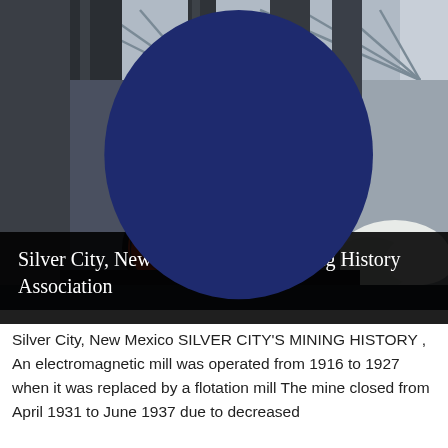[Figure (photo): Industrial mining equipment including large dark cylindrical ducts, pipes, fans and motors inside a mining facility. An orange fan/motor and a grey motor are visible in the foreground. White material (possibly ore or mineral) is piled in the background right. A 'LIVE CHAT' badge overlay is in the upper right corner.]
Silver City, New Mexico Tour - Mining History Association
Silver City, New Mexico SILVER CITY'S MINING HISTORY , An electromagnetic mill was operated from 1916 to 1927 when it was replaced by a flotation mill The mine closed from April 1931 to June 1937 due to decreased